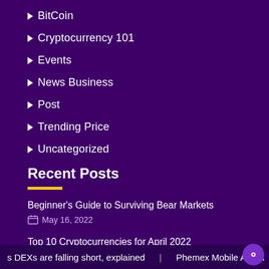BitCoin
Cryptocurrency 101
Events
News Business
Post
Trending Price
Uncategorized
Recent Posts
Beginner's Guide to Surviving Bear Markets
May 16, 2022
Top 10 Cryptocurrencies for April 2022
May 11, 2022
s DEXs are falling short, explained | Phemex Mobile App A